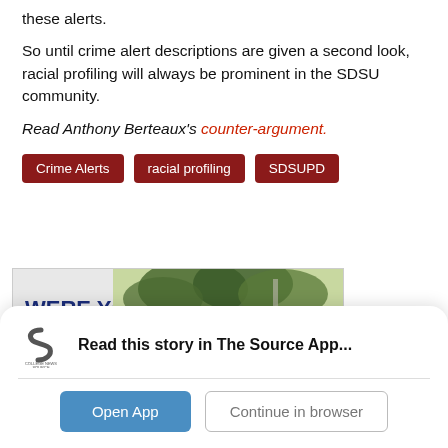these alerts.
So until crime alert descriptions are given a second look, racial profiling will always be prominent in the SDSU community.
Read Anthony Berteaux's counter-argument.
Crime Alerts
racial profiling
SDSUPD
[Figure (other): Advertisement banner showing 'WERE YOU BORN IN' text on left with outdoor photo of person and trees on right, with close X button]
[Figure (logo): College News Source app logo — circular S shape icon with 'COLLEGE NEWS SOURCE' text below]
Read this story in The Source App...
Open App
Continue in browser